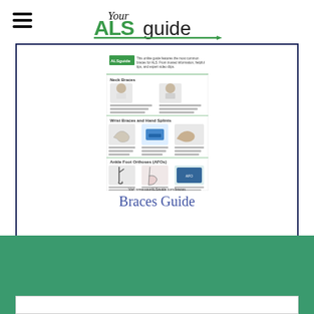Your ALS guide
[Figure (screenshot): Screenshot of the ALS Braces Guide page showing neck braces, wrist braces and hand splints, and ankle foot orthoses (AFOs) with product images and descriptions. Footer reads: Visit www.yourALSguide.com/braces]
Braces Guide